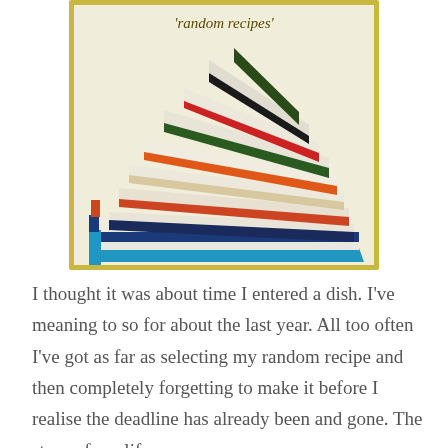[Figure (photo): A stack of colorful cookbooks fanned out, displayed against a cream/yellow background with a gold/olive border. The books include colors such as black, dark green, red, orange, cream/white, dark blue, and light blue.]
I thought it was about time I entered a dish. I've meaning to so for about the last year. All too often I've got as far as selecting my random recipe and then completely forgetting to make it before I realise the deadline has already been and gone. The story of my life